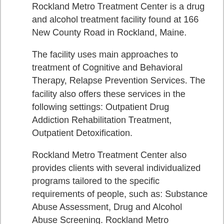Rockland Metro Treatment Center is a drug and alcohol treatment facility found at 166 New County Road in Rockland, Maine.
The facility uses main approaches to treatment of Cognitive and Behavioral Therapy, Relapse Prevention Services. The facility also offers these services in the following settings: Outpatient Drug Addiction Rehabilitation Treatment, Outpatient Detoxification.
Rockland Metro Treatment Center also provides clients with several individualized programs tailored to the specific requirements of people, such as: Substance Abuse Assessment, Drug and Alcohol Abuse Screening. Rockland Metro Treatment Center